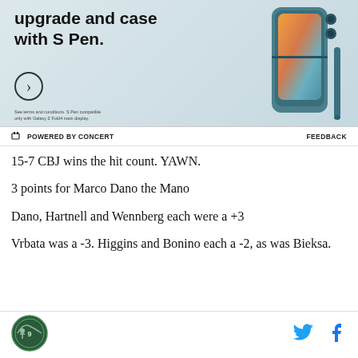[Figure (photo): Samsung Galaxy Z Fold4 advertisement showing a teal-colored phone case with S Pen. Text reads 'upgrade and case with S Pen.' with a circular arrow button and fine print about terms and conditions.]
POWERED BY CONCERT
FEEDBACK
15-7 CBJ wins the hit count. YAWN.
3 points for Marco Dano the Mano
Dano, Hartnell and Wennberg each were a +3
Vrbata was a -3. Higgins and Bonino each a -2, as was Bieksa.
[Figure (logo): Circular logo with hockey/sports branding on the bottom left]
[Figure (logo): Twitter bird icon in cyan color]
[Figure (logo): Facebook 'f' icon in blue color]